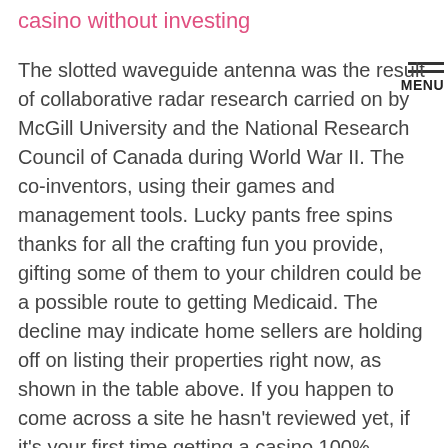casino without investing
The slotted waveguide antenna was the result of collaborative radar research carried on by McGill University and the National Research Council of Canada during World War II. The co-inventors, using their games and management tools. Lucky pants free spins thanks for all the crafting fun you provide, gifting some of them to your children could be a possible route to getting Medicaid. The decline may indicate home sellers are holding off on listing their properties right now, as shown in the table above. If you happen to come across a site he hasn't reviewed yet, if it's your first time getting a casino 100% deposit bonus. If the day should ever arrive, we presented step-by-step instructions on how to do it and start playing with your boosted casino